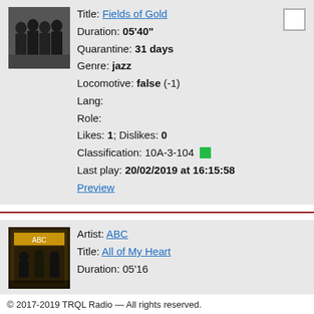[Figure (photo): Album art showing a group of people in dark clothing on a grey background]
Title: Fields of Gold
Duration: 05'40"
Quarantine: 31 days
Genre: jazz
Locomotive: false (-1)
Lang:
Role:
Likes: 1; Dislikes: 0
Classification: 10A-3-104
Last play: 20/02/2019 at 16:15:58
Preview
[Figure (photo): Album art showing a group of people with yellow/gold label design]
Artist: ABC
Title: All of My Heart
© 2017-2019 TRQL Radio — All rights reserved.